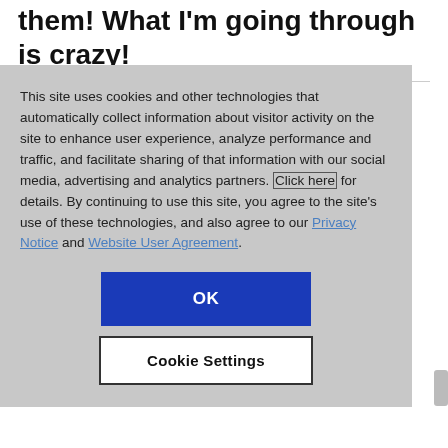them! What I'm going through is crazy!
This site uses cookies and other technologies that automatically collect information about visitor activity on the site to enhance user experience, analyze performance and traffic, and facilitate sharing of that information with our social media, advertising and analytics partners. Click here for details. By continuing to use this site, you agree to the site's use of these technologies, and also agree to our Privacy Notice and Website User Agreement.
OK
Cookie Settings